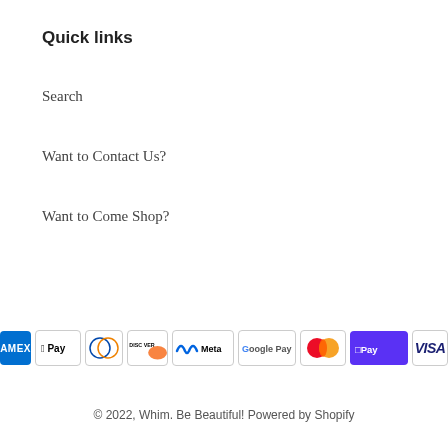Quick links
Search
Want to Contact Us?
Want to Come Shop?
[Figure (other): Payment method icons: American Express, Apple Pay, Diners Club, Discover, Meta Pay, Google Pay, Mastercard, Shop Pay, Visa]
© 2022, Whim. Be Beautiful! Powered by Shopify